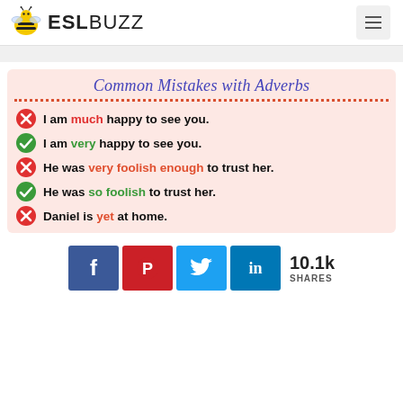ESL BUZZ
[Figure (infographic): Common Mistakes with Adverbs infographic on a pink background. Shows correct/incorrect sentence pairs with red X and green checkmark icons. Sentences: (X) I am much happy to see you. / (✓) I am very happy to see you. / (X) He was very foolish enough to trust her. / (✓) He was so foolish to trust her. / (X) Daniel is yet at home. (partially visible)]
10.1k SHARES